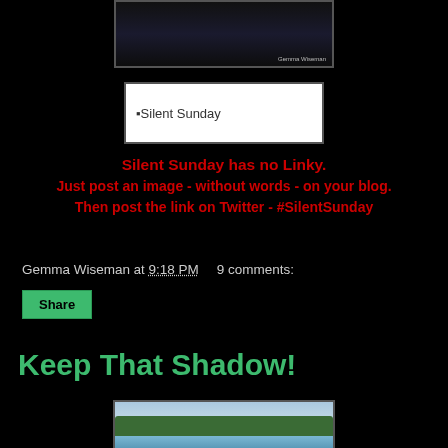[Figure (photo): Dark photograph with person silhouette, watermark reading 'Gemma Wiseman']
[Figure (other): Image placeholder box with text 'Silent Sunday']
Silent Sunday has no Linky.
Just post an image - without words - on your blog.
Then post the link on Twitter - #SilentSunday
Gemma Wiseman at 9:18 PM   9 comments:
Share
Keep That Shadow!
[Figure (photo): Coastal landscape photo showing green hills, blue sky, and blue water in the foreground]